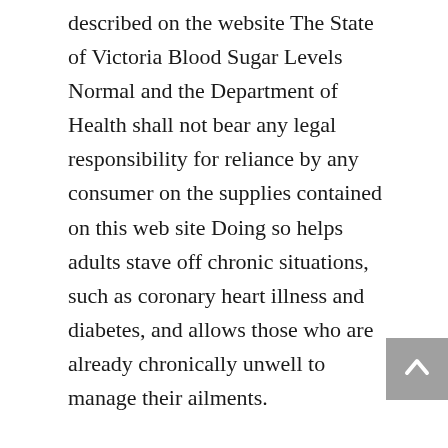described on the website The State of Victoria Blood Sugar Levels Normal and the Department of Health shall not bear any legal responsibility for reliance by any consumer on the supplies contained on this web site Doing so helps adults stave off chronic situations, such as coronary heart illness and diabetes, and allows those who are already chronically unwell to manage their ailments.
More than 90 of the diabetics within the United States are Type II diabetics Sometimes called age onset or adult onset diabetes, this form of diabetes occurs most often in people who find themselves chubby and who do not train It is also extra frequent in people of Native American, Hispanic, and African American descent People who ve migrated to Western cultures from East